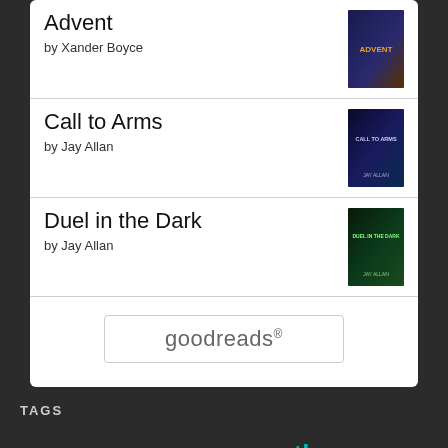Advent by Xander Boyce
Call to Arms by Jay Allan
Duel in the Dark by Jay Allan
[Figure (logo): goodreads logo button with border]
TAGS
advice aliens anthology art astrobiology author Baen Books Biology Books camera Contest creativity